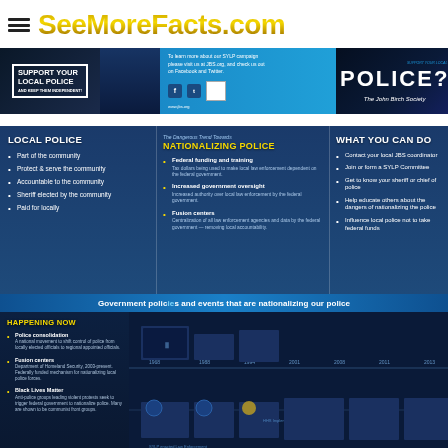SeeMoreFacts.com
[Figure (infographic): John Birch Society 'Support Your Local Police' campaign banner with logo, social media icons, QR code, and 'POLICE?' text]
[Figure (infographic): Infographic: 'The Dangerous Trend Towards Nationalizing Police' with three columns: LOCAL POLICE, NATIONALIZING POLICE, and WHAT YOU CAN DO]
Government policies and events that are nationalizing our police
[Figure (infographic): Timeline infographic showing 'HAPPENING NOW' with sections on Police consolidation, Fusion centers, and Black Lives Matter, alongside a historical timeline]